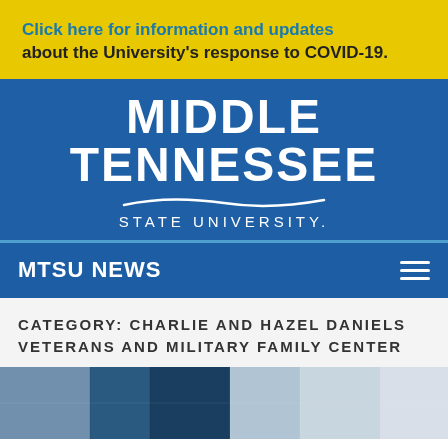Click here for information and updates about the University's response to COVID-19.
[Figure (logo): Middle Tennessee State University logo — white bold text on blue background with decorative swash line]
MTSU NEWS
CATEGORY: CHARLIE AND HAZEL DANIELS VETERANS AND MILITARY FAMILY CENTER
[Figure (photo): Partial photo strip at bottom showing blue and grey tones, partially visible]